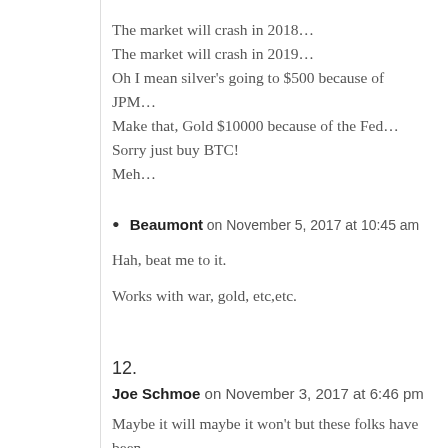The market will crash in 2018…
The market will crash in 2019…
Oh I mean silver's going to $500 because of JPM…
Make that, Gold $10000 because of the Fed…
Sorry just buy BTC!
Meh…
Beaumont on November 5, 2017 at 10:45 am
Hah, beat me to it.
Works with war, gold, etc,etc.
12.
Joe Schmoe on November 3, 2017 at 6:46 pm
Maybe it will maybe it won't but these folks have been